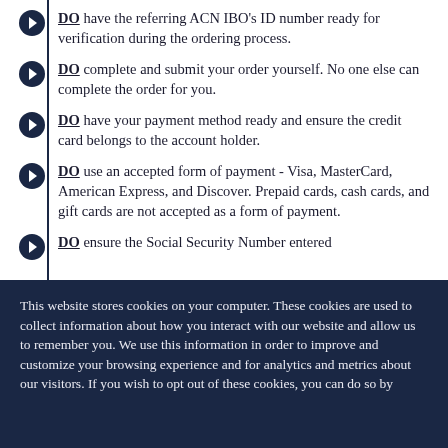DO have the referring ACN IBO's ID number ready for verification during the ordering process.
DO complete and submit your order yourself. No one else can complete the order for you.
DO have your payment method ready and ensure the credit card belongs to the account holder.
DO use an accepted form of payment - Visa, MasterCard, American Express, and Discover. Prepaid cards, cash cards, and gift cards are not accepted as a form of payment.
DO ensure the Social Security Number entered
This website stores cookies on your computer. These cookies are used to collect information about how you interact with our website and allow us to remember you. We use this information in order to improve and customize your browsing experience and for analytics and metrics about our visitors. If you wish to opt out of these cookies, you can do so by